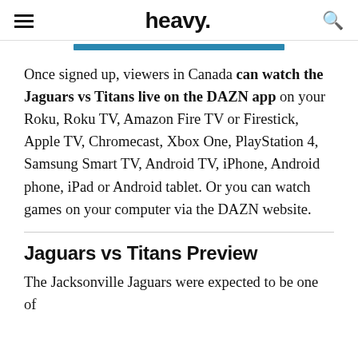heavy.
[Figure (other): Blue horizontal progress/accent bar]
Once signed up, viewers in Canada can watch the Jaguars vs Titans live on the DAZN app on your Roku, Roku TV, Amazon Fire TV or Firestick, Apple TV, Chromecast, Xbox One, PlayStation 4, Samsung Smart TV, Android TV, iPhone, Android phone, iPad or Android tablet. Or you can watch games on your computer via the DAZN website.
Jaguars vs Titans Preview
The Jacksonville Jaguars were expected to be one of